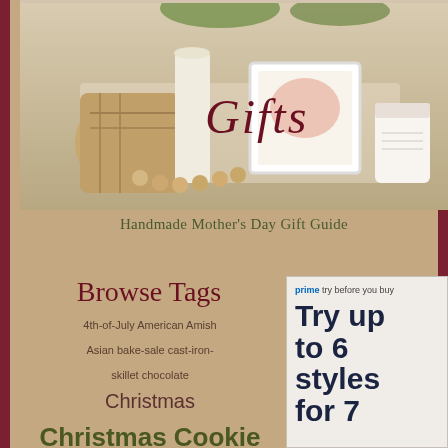[Figure (photo): Styled flat-lay photo with woven basket, candles, wooden beads, white frame, and small jar with label, overlaid with the word 'Gifts' in dark red italic serif font]
Handmade Mother's Day Gift Guide
Browse Tags
4th-of-July American Amish Asian bake-sale cast-iron-skillet chocolate Christmas Christmas Cookie comfort-food Country-Style
[Figure (screenshot): Amazon Prime 'try before you buy' advertisement with text: prime try before you buy / Try up to 6 styles for 7]